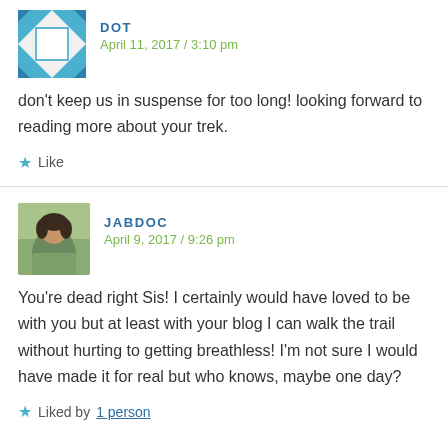[Figure (illustration): Decorative geometric avatar icon for user Dot — blue/teal patterned square quilt-style icon]
DOT
April 11, 2017 / 3:10 pm
don't keep us in suspense for too long! looking forward to reading more about your trek.
★ Like
[Figure (photo): Small square profile photo of a woman with dark hair outdoors]
JABDOC
April 9, 2017 / 9:26 pm
You're dead right Sis! I certainly would have loved to be with you but at least with your blog I can walk the trail without hurting to getting breathless! I'm not sure I would have made it for real but who knows, maybe one day?
★ Liked by 1 person